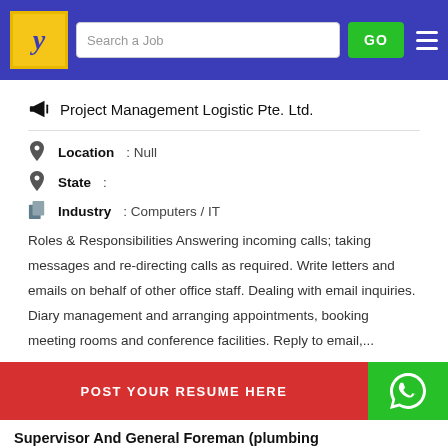[Figure (screenshot): Job portal navigation bar with logo, search field, GO button, and hamburger menu on blue background]
Project Management Logistic Pte. Ltd.
Location : Null
State :
Industry : Computers / IT
Roles & Responsibilities Answering incoming calls; taking messages and re-directing calls as required. Write letters and emails on behalf of other office staff. Dealing with email inquiries. Diary management and arranging appointments, booking meeting rooms and conference facilities. Reply to email,...
POST YOUR RESUME HERE
Supervisor And General Foreman (plumbing